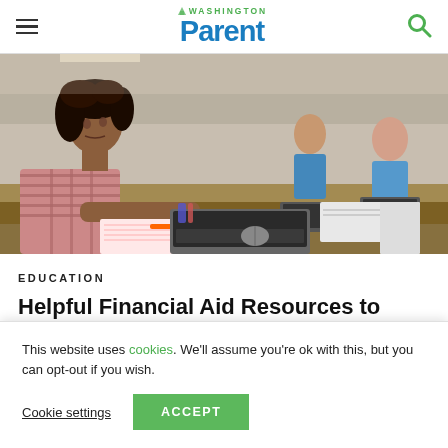Washington Parent
[Figure (photo): Students sitting at desks working on laptops in a classroom setting. A young woman with curly hair in a plaid shirt is in the foreground.]
EDUCATION
Helpful Financial Aid Resources to
This website uses cookies. We'll assume you're ok with this, but you can opt-out if you wish. Cookie settings ACCEPT